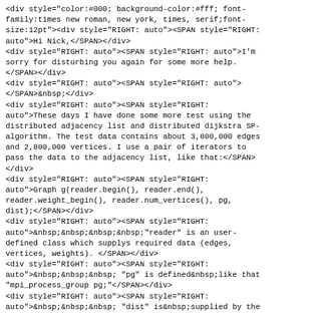<div style="color:#000; background-color:#fff; font-family:times new roman, new york, times, serif;font-size:12pt"><div style="RIGHT: auto"><SPAN style="RIGHT: auto">Hi Nick,</SPAN></div>
<div style="RIGHT: auto"><SPAN style="RIGHT: auto">I'm sorry for disturbing you again for some more help.</SPAN></div>
<div style="RIGHT: auto"><SPAN style="RIGHT: auto"></SPAN>&nbsp;</div>
<div style="RIGHT: auto"><SPAN style="RIGHT: auto">These days I have done some more test using the distributed adjacency list and distributed dijkstra SP-algorithm. The test data contains about 3,800,000 edges and 2,800,000 vertices. I use a pair of iterators to pass the data to the adjacency list, like that:</SPAN></div>
<div style="RIGHT: auto"><SPAN style="RIGHT: auto">Graph g(reader.begin(), reader.end(), reader.weight_begin(), reader.num_vertices(), pg, dist);</SPAN></div>
<div style="RIGHT: auto"><SPAN style="RIGHT: auto">&nbsp;&nbsp;&nbsp;&nbsp;"reader" is an user-defined class which supplys required data (edges, vertices, weights). </SPAN></div>
<div style="RIGHT: auto"><SPAN style="RIGHT: auto">&nbsp;&nbsp;&nbsp; "pg" is defined&nbsp;like that "mpi_process_group pg;"</SPAN></div>
<div style="RIGHT: auto"><SPAN style="RIGHT: auto">&nbsp;&nbsp;&nbsp; "dist" is&nbsp;supplied by the